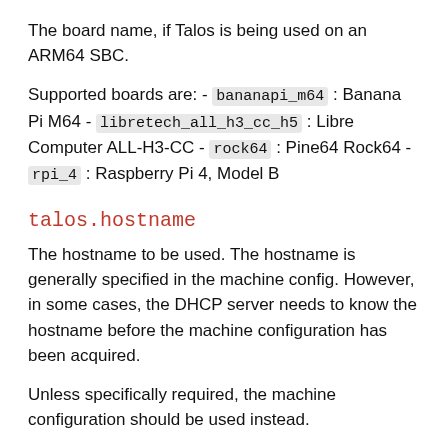The board name, if Talos is being used on an ARM64 SBC.
Supported boards are: - bananapi_m64 : Banana Pi M64 - libretech_all_h3_cc_h5 : Libre Computer ALL-H3-CC - rock64 : Pine64 Rock64 - rpi_4 : Raspberry Pi 4, Model B
talos.hostname
The hostname to be used. The hostname is generally specified in the machine config. However, in some cases, the DHCP server needs to know the hostname before the machine configuration has been acquired.
Unless specifically required, the machine configuration should be used instead.
talos.shutdown
The type of shutdown to use when shutting down the node.